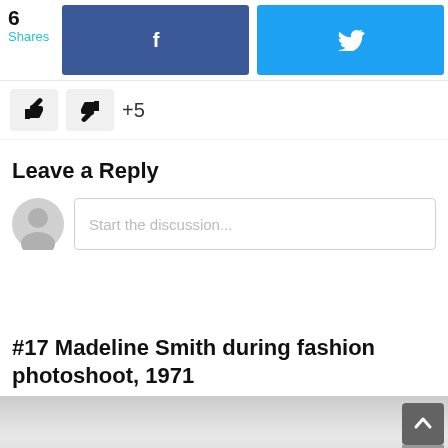6 Shares
[Figure (screenshot): Facebook share button (blue) and Twitter share button (cyan/blue) in a top bar]
[Figure (screenshot): Thumbs up and thumbs down vote buttons with +5 count]
Leave a Reply
[Figure (screenshot): User avatar icon (grey silhouette) next to a comment input field with placeholder text 'Start the discussion...']
#17 Madeline Smith during fashion photoshoot, 1971
[Figure (photo): Bottom portion of a black and white photograph, partially visible]